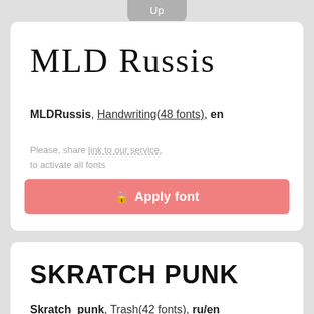Up
[Figure (other): Font preview showing 'MLD Russis' in a handwriting/cursive style font]
MLDRussis, Handwriting(48 fonts), en
Please, share link to our service,
to activate all fonts
Apply font
[Figure (other): Font preview showing 'SKRATCH PUNK' in a distressed/trash style font]
Skratch_punk, Trash(42 fonts), ru/en